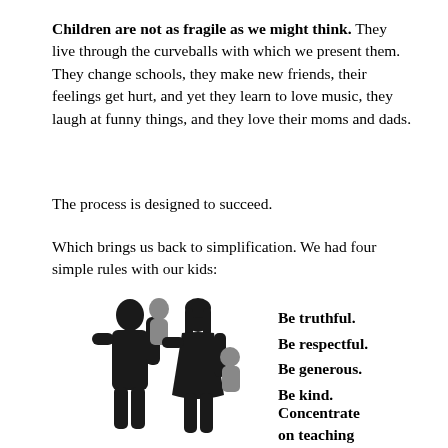Children are not as fragile as we might think. They live through the curveballs with which we present them. They change schools, they make new friends, their feelings get hurt, and yet they learn to love music, they laugh at funny things, and they love their moms and dads.
The process is designed to succeed.
Which brings us back to simplification. We had four simple rules with our kids:
[Figure (illustration): Silhouette of a family — a man and a woman each carrying a child, walking together.]
Be truthful.
Be respectful.
Be generous.
Be kind.
Concentrate on teaching